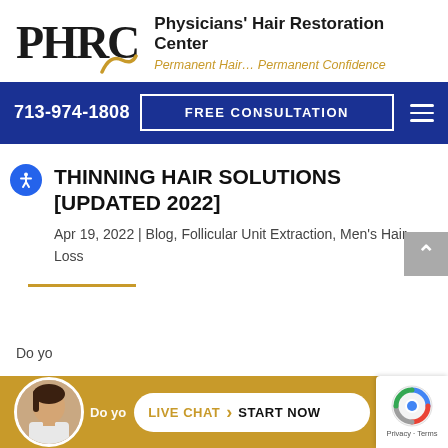[Figure (logo): PHRC logo with stylized letters and gold curl, beside text 'Physicians' Hair Restoration Center' and tagline 'Permanent Hair... Permanent Confidence']
713-974-1808  FREE CONSULTATION
THINNING HAIR SOLUTIONS [UPDATED 2022]
Apr 19, 2022 | Blog, Follicular Unit Extraction, Men's Hair Loss
Do yo...
[Figure (screenshot): Live Chat bar with avatar photo of a woman, gold background, button reading LIVE CHAT > START NOW, and reCAPTCHA badge in corner]